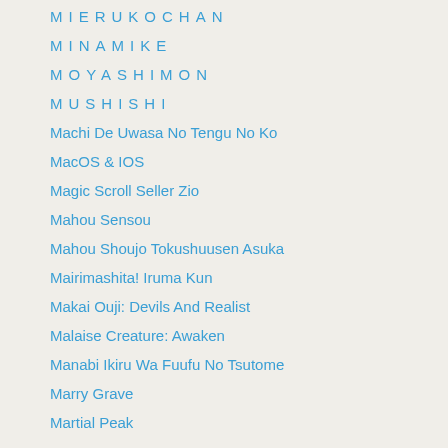MIERUKOCHAN
MINAMIKE
MOYASHIMON
MUSHISHI
Machi De Uwasa No Tengu No Ko
MacOS & IOS
Magic Scroll Seller Zio
Mahou Sensou
Mahou Shoujo Tokushuusen Asuka
Mairimashita! Iruma Kun
Makai Ouji: Devils And Realist
Malaise Creature: Awaken
Manabi Ikiru Wa Fuufu No Tsutome
Marry Grave
Martial Peak